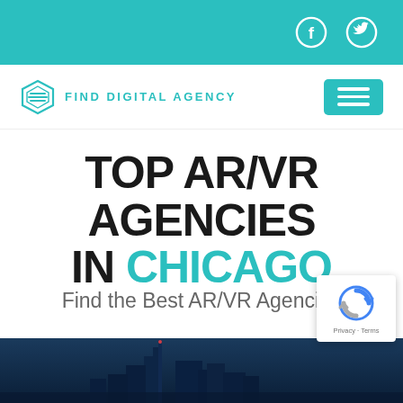Top bar with Facebook and Twitter social icons
[Figure (logo): Find Digital Agency logo with hexagon icon and teal text: FIND DIGITAL AGENCY, plus hamburger menu button]
TOP AR/VR AGENCIES IN CHICAGO
Find the Best AR/VR Agencies Near You
[Figure (photo): Night cityscape of Chicago skyline at bottom of page]
[Figure (other): reCAPTCHA badge with Privacy and Terms links]